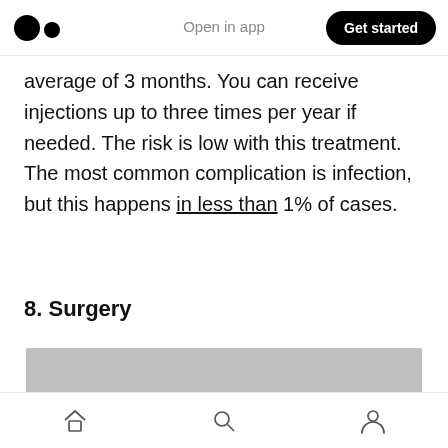Open in app | Get started
average of 3 months. You can receive injections up to three times per year if needed. The risk is low with this treatment. The most common complication is infection, but this happens in less than 1% of cases.
8. Surgery
[Figure (photo): Gray placeholder image for surgery section]
Home | Search | Profile